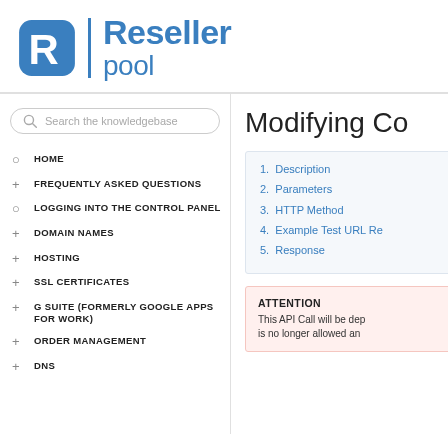[Figure (logo): Reseller pool logo with stylized R icon and company name]
Search the knowledgebase
HOME
FREQUENTLY ASKED QUESTIONS
LOGGING INTO THE CONTROL PANEL
DOMAIN NAMES
HOSTING
SSL CERTIFICATES
G SUITE (FORMERLY GOOGLE APPS FOR WORK)
ORDER MANAGEMENT
DNS
Modifying Co
1. Description
2. Parameters
3. HTTP Method
4. Example Test URL Re
5. Response
ATTENTION
This API Call will be dep
is no longer allowed an